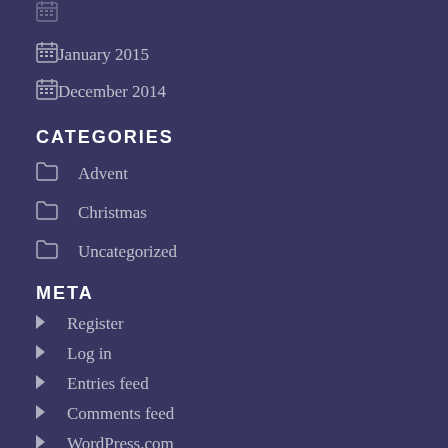January 2015
December 2014
CATEGORIES
Advent
Christmas
Uncategorized
META
Register
Log in
Entries feed
Comments feed
WordPress.com